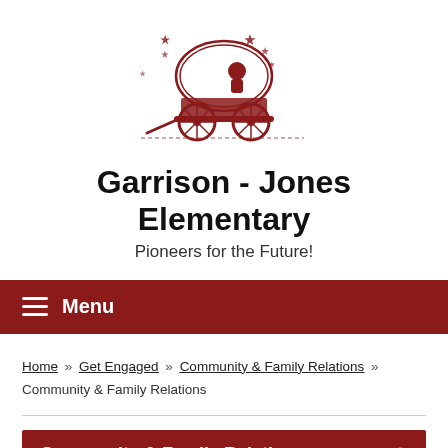[Figure (illustration): School logo: a covered pioneer wagon with stars in dark red/maroon color]
Garrison - Jones Elementary
Pioneers for the Future!
Menu
Home » Get Engaged » Community & Family Relations » Community & Family Relations
Community & Family Relations